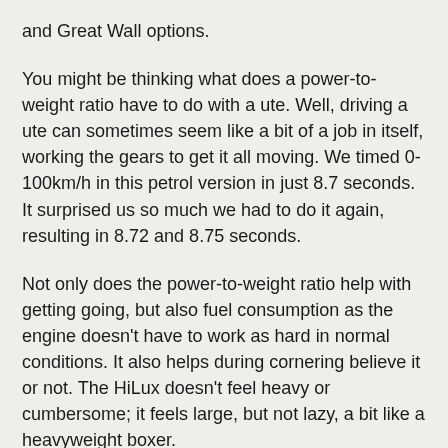and Great Wall options.
You might be thinking what does a power-to-weight ratio have to do with a ute. Well, driving a ute can sometimes seem like a bit of a job in itself, working the gears to get it all moving. We timed 0-100km/h in this petrol version in just 8.7 seconds. It surprised us so much we had to do it again, resulting in 8.72 and 8.75 seconds.
Not only does the power-to-weight ratio help with getting going, but also fuel consumption as the engine doesn't have to work as hard in normal conditions. It also helps during cornering believe it or not. The HiLux doesn't feel heavy or cumbersome; it feels large, but not lazy, a bit like a heavyweight boxer.